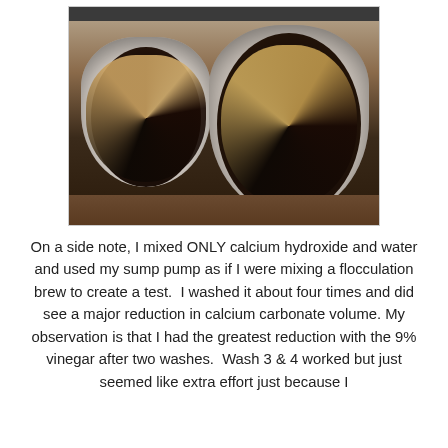[Figure (photo): Photograph of two bowls/strainers containing black residue caught in coffee/filter paper liners, placed on a brown countertop. Left bowl is white plastic with a round filter; right bowl is a larger metal colander with a bigger filter.]
On a side note, I mixed ONLY calcium hydroxide and water and used my sump pump as if I were mixing a flocculation brew to create a test.  I washed it about four times and did see a major reduction in calcium carbonate volume. My observation is that I had the greatest reduction with the 9% vinegar after two washes.  Wash 3 & 4 worked but just seemed like extra effort just because I